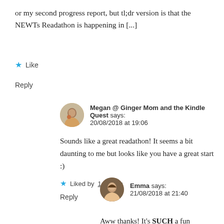or my second progress report, but tl;dr version is that the NEWTs Readathon is happening in [...]
★ Like
Reply
Megan @ Ginger Mom and the Kindle Quest says: 20/08/2018 at 19:06
Sounds like a great readathon! It seems a bit daunting to me but looks like you have a great start :)
★ Liked by 1 person
Reply
Emma says: 21/08/2018 at 21:40
Aww thanks! It's SUCH a fun readathon